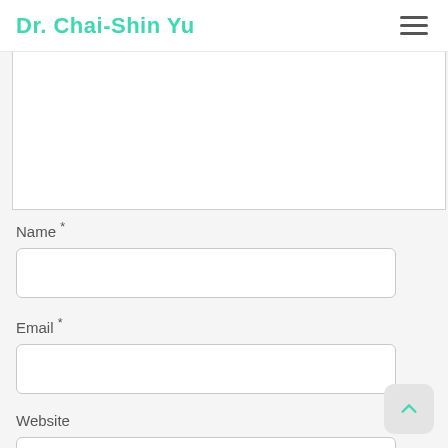Dr. Chai-Shin Yu
Name *
Email *
Website